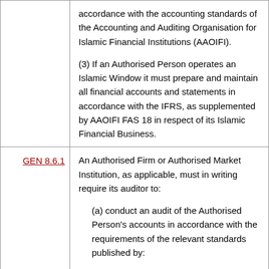| Reference | Content |
| --- | --- |
|  | accordance with the accounting standards of the Accounting and Auditing Organisation for Islamic Financial Institutions (AAOIFI).
(3) If an Authorised Person operates an Islamic Window it must prepare and maintain all financial accounts and statements in accordance with the IFRS, as supplemented by AAOIFI FAS 18 in respect of its Islamic Financial Business. |
| GEN 8.6.1 | An Authorised Firm or Authorised Market Institution, as applicable, must in writing require its auditor to:
(a) conduct an audit of the Authorised Person's accounts in accordance with the requirements of the relevant standards published by:
(i) the International Auditing and Assurance |